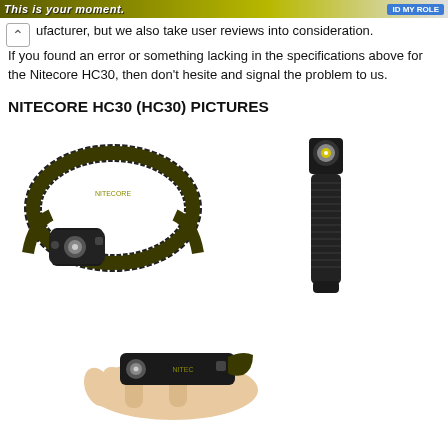This is your moment. [button] [image]
ufacturer, but we also take user reviews into consideration. If you found an error or something lacking in the specifications above for the Nitecore HC30, then don't hesite and signal the problem to us.
NITECORE HC30 (HC30) PICTURES
[Figure (photo): Nitecore HC30 headlamp with headband, black with yellow-green accents]
[Figure (photo): Nitecore HC30 flashlight/torch body, black cylindrical with yellow LED visible at top]
[Figure (photo): Nitecore HC30 headlamp held in a person's hand showing the device from the front]